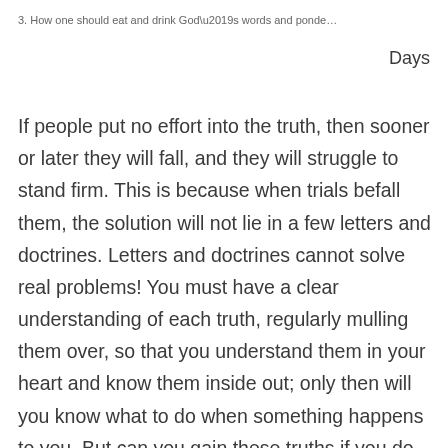3. How one should eat and drink God’s words and ponde…
Days
If people put no effort into the truth, then sooner or later they will fall, and they will struggle to stand firm. This is because when trials befall them, the solution will not lie in a few letters and doctrines. Letters and doctrines cannot solve real problems! You must have a clear understanding of each truth, regularly mulling them over, so that you understand them in your heart and know them inside out; only then will you know what to do when something happens to you. But can you gain these truths if you do not give them any deliberation? If you do not